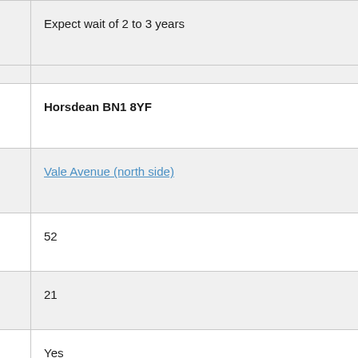Expect wait of 2 to 3 years
Horsdean BN1 8YF
Vale Avenue (north side)
52
21
Yes